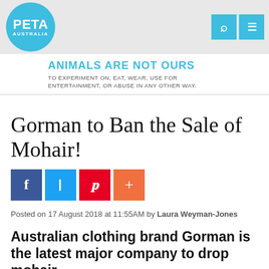PETA AUSTRALIA — Animals Are Not Ours. To experiment on, eat, wear, use for entertainment, or abuse in any other way.
Gorman to Ban the Sale of Mohair!
[Figure (other): Social share buttons: Facebook (blue), Twitter (light blue), Pinterest (red), Plus/share (orange)]
Posted on 17 August 2018 at 11:55AM by Laura Weyman-Jones
Australian clothing brand Gorman is the latest major company to drop mohair